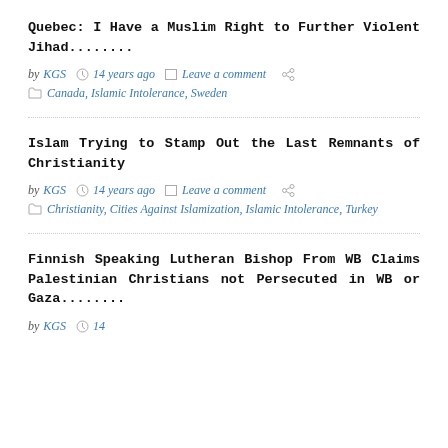Quebec: I Have a Muslim Right to Further Violent Jihad........
by KGS  14 years ago  Leave a comment
Canada, Islamic Intolerance, Sweden
Islam Trying to Stamp Out the Last Remnants of Christianity
by KGS  14 years ago  Leave a comment
Christianity, Cities Against Islamization, Islamic Intolerance, Turkey
Finnish Speaking Lutheran Bishop From WB Claims Palestinian Christians not Persecuted in WB or Gaza........
by KGS  14